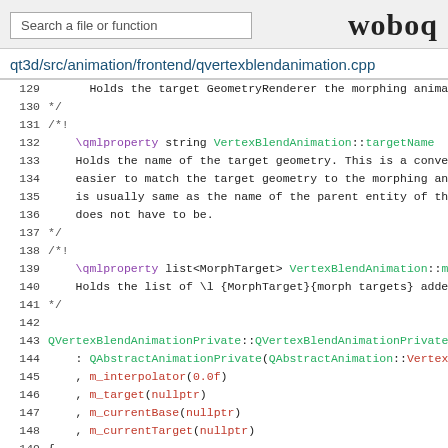Search a file or function | woboq
qt3d/src/animation/frontend/qvertexblendanimation.cpp
[Figure (screenshot): Source code viewer showing lines 129-154 of qvertexblendanimation.cpp with syntax highlighting. Contains QML property documentation comments and C++ constructor code for QVertexBlendAnimationPrivate.]